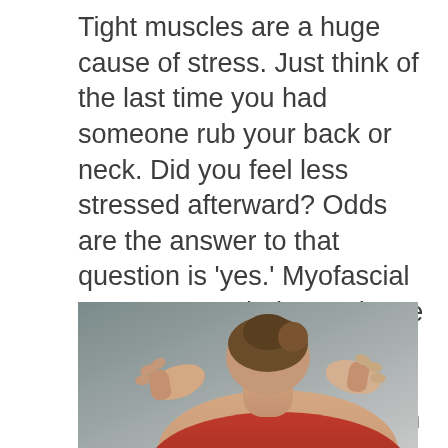Tight muscles are a huge cause of stress. Just think of the last time you had someone rub your back or neck. Did you feel less stressed afterward? Odds are the answer to that question is 'yes.' Myofascial massage can help to release tightness in your muscles that may be causing emotional tension in addition to physical tension. Reach out to us today if you are in need of a relaxing massage.
[Figure (photo): A person receiving a neck or back massage, viewed from behind. The subject has hair pulled up and is wearing a red top, with hands visible applying pressure to their neck/shoulder area.]